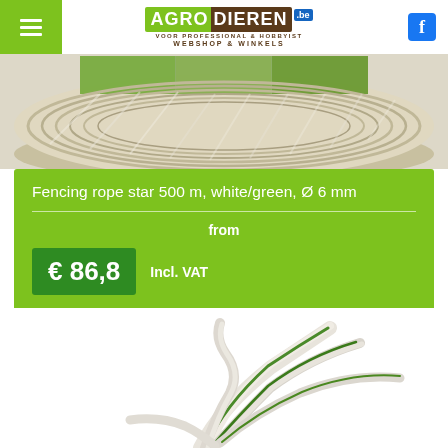AgroDieren.be — Webshop & Winkels
[Figure (photo): Top portion of a large spool of white/green fencing rope, showing twisted strands and farm animal images on the label in the background]
Fencing rope star 500 m, white/green, Ø 6 mm
from
€ 86,8  Incl. VAT
catalog price: € 96,59 Incl. VAT
[Figure (photo): Close-up photo of white and green fencing rope strands splayed out showing the twisted construction with green conductor threads]